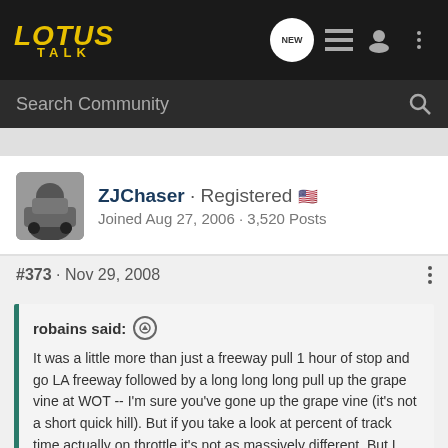[Figure (logo): Lotus Talk forum logo in yellow/gold italic text on dark background]
Search Community
ZJChaser · Registered
Joined Aug 27, 2006 · 3,520 Posts
#373 · Nov 29, 2008
robains said:
It was a little more than just a freeway pull 1 hour of stop and go LA freeway followed by a long long long pull up the grape vine at WOT -- I'm sure you've gone up the grape vine (it's not a short quick hill). But if you take a look at percent of track time actually on throttle it's not as massively different. But I agree you're not creating tranny heat, brake heat, etc. etc. -- tracks are different and my point was each track will be different.
Click to expand